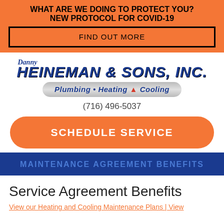WHAT ARE WE DOING TO PROTECT YOU?
NEW PROTOCOL FOR COVID-19
FIND OUT MORE
[Figure (logo): Danny Heineman & Sons, Inc. logo with Plumbing • Heating • Cooling tagline bar]
(716) 496-5037
SCHEDULE SERVICE
MAINTENANCE AGREEMENT BENEFITS
Service Agreement Benefits
View our Heating and Cooling Maintenance Plans | View